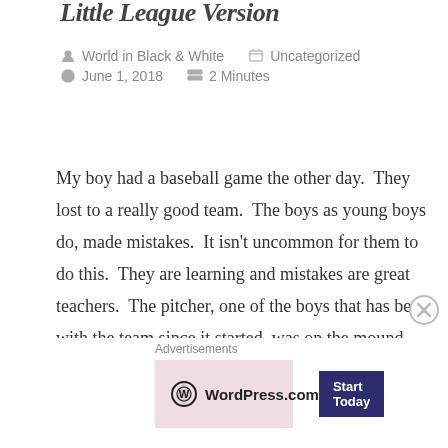Little League Version
World in Black & White   Uncategorized   June 1, 2018   2 Minutes
My boy had a baseball game the other day.  They lost to a really good team.  The boys as young boys do, made mistakes.  It isn't uncommon for them to do this.  They are learning and mistakes are great teachers.  The pitcher, one of the boys that has been with the team since it started, was on the mound.  He was doing so well.  Then after one player gets on base, his head starts to lower.  His normally healthy confidence starts to diminish a bit. My thoughts… “So what, he walked a
Advertisements
[Figure (other): WordPress.com advertisement banner with pink/mauve background, WordPress logo and 'Start Today' button]